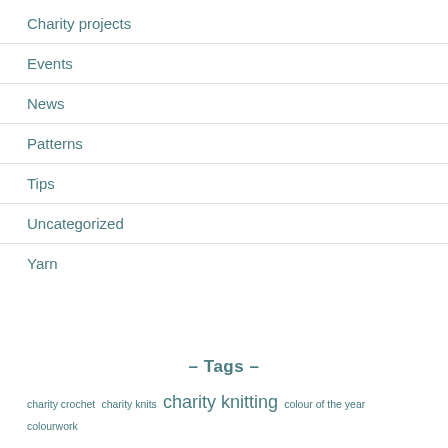Charity projects
Events
News
Patterns
Tips
Uncategorized
Yarn
– Tags –
charity crochet  charity knits  charity knitting  colour of the year  colourwork